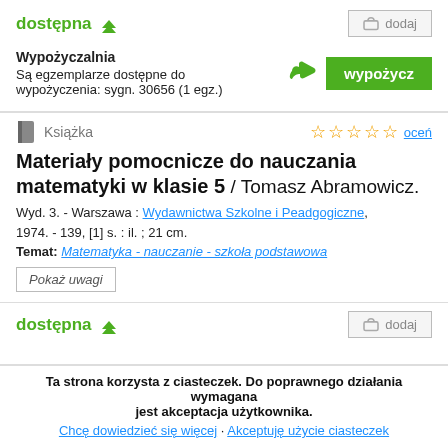dostępna ↑
dodaj
Wypożyczalnia
Są egzemplarze dostępne do wypożyczenia: sygn. 30656 (1 egz.)
wypożycz
Książka
Materiały pomocnicze do nauczania matematyki w klasie 5 / Tomasz Abramowicz.
Wyd. 3. - Warszawa : Wydawnictwa Szkolne i Peadgogiczne, 1974. - 139, [1] s. : il. ; 21 cm.
Temat: Matematyka - nauczanie - szkoła podstawowa
Pokaż uwagi
dostępna ↑
dodaj
Ta strona korzysta z ciasteczek. Do poprawnego działania wymagana jest akceptacja użytkownika.
Chcę dowiedzieć się więcej · Akceptuję użycie ciasteczek